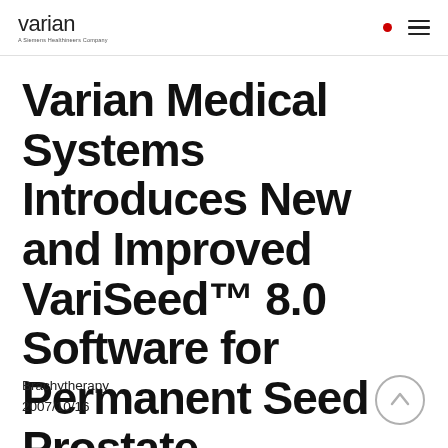varian — A Siemens Healthineers Company
Varian Medical Systems Introduces New and Improved VariSeed™ 8.0 Software for Permanent Seed Prostate Brachytherapy Treatments
Brachytherapy
2007/10/16